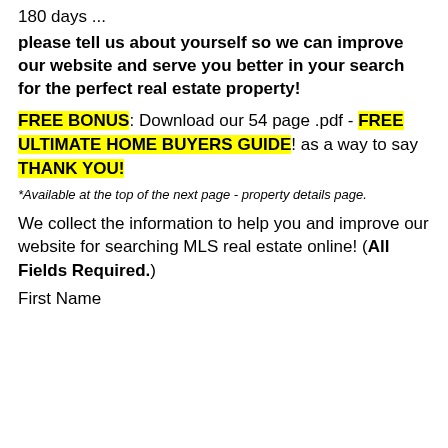180 days ...
please tell us about yourself so we can improve our website and serve you better in your search for the perfect real estate property!
FREE BONUS: Download our 54 page .pdf - FREE ULTIMATE HOME BUYERS GUIDE! as a way to say THANK YOU!
*Available at the top of the next page - property details page.
We collect the information to help you and improve our website for searching MLS real estate online! (All Fields Required.)
First Name